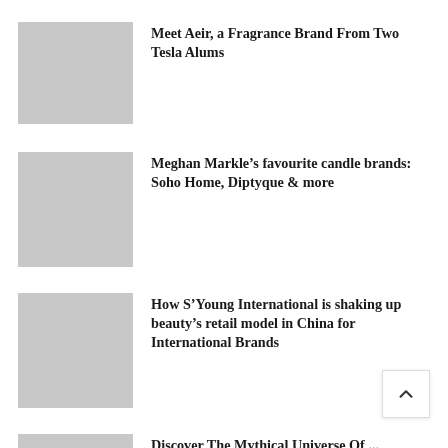[Figure (photo): Grey placeholder image for article 1]
Meet Aeir, a Fragrance Brand From Two Tesla Alums
[Figure (photo): Grey placeholder image for article 2]
Meghan Markle’s favourite candle brands: Soho Home, Diptyque & more
[Figure (photo): Grey placeholder image for article 3]
How S’Young International is shaking up beauty’s retail model in China for International Brands
[Figure (photo): Grey placeholder image for article 4 (partially visible)]
Discover The Mythical Universe Of ...